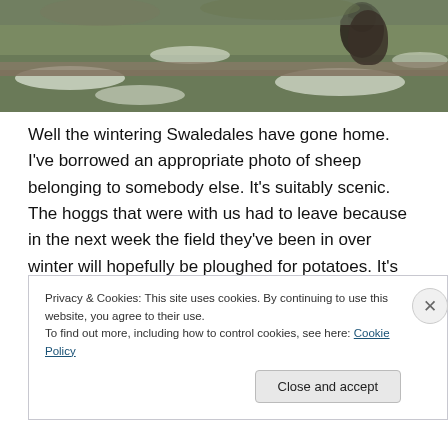[Figure (photo): A photograph of Swaledale sheep in a snowy, grassy field with a stone wall in the background. A dark-faced sheep is visible near the wall.]
Well the wintering Swaledales have gone home. I've borrowed an appropriate photo of sheep belonging to somebody else. It's suitably scenic. The hoggs that were with us had to leave because in the next week the field they've been in over winter will hopefully be ploughed for potatoes. It's very much a tale of two Cumbrias at the moment.
Privacy & Cookies: This site uses cookies. By continuing to use this website, you agree to their use.
To find out more, including how to control cookies, see here: Cookie Policy